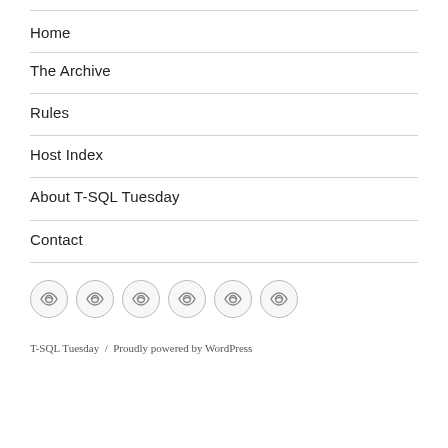Home
The Archive
Rules
Host Index
About T-SQL Tuesday
Contact
[Figure (illustration): Six circular icon buttons with an eye/sync icon inside each, arranged in a horizontal row]
T-SQL Tuesday / Proudly powered by WordPress